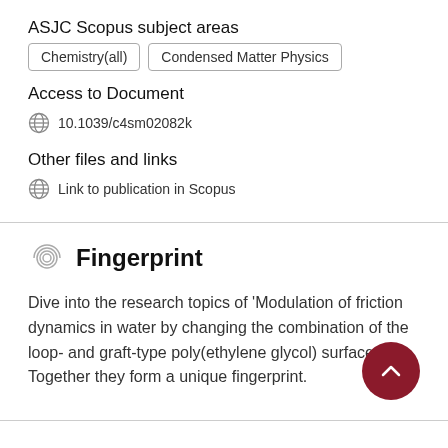ASJC Scopus subject areas
Chemistry(all)
Condensed Matter Physics
Access to Document
10.1039/c4sm02082k
Other files and links
Link to publication in Scopus
Fingerprint
Dive into the research topics of 'Modulation of friction dynamics in water by changing the combination of the loop- and graft-type poly(ethylene glycol) surfaces'. Together they form a unique fingerprint.